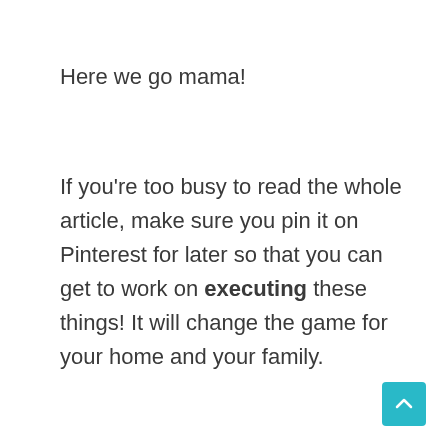Here we go mama!
If you're too busy to read the whole article, make sure you pin it on Pinterest for later so that you can get to work on executing these things! It will change the game for your home and your family.